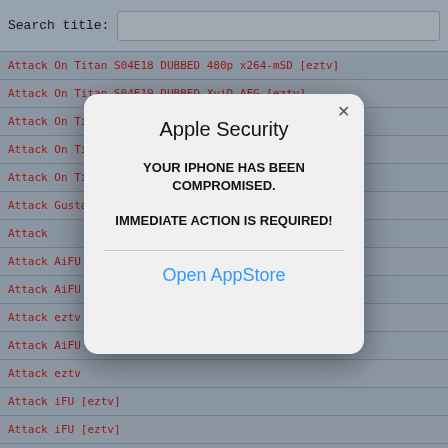Search title:
Attack On Titan S04E18 DUBBED 480p x264-mSD [eztv]
Attack On Titan S04E19 DUBBED XviD-AFG [eztv]
Attack On Titan S04E19 DUBBED 480p x264-mSD [eztv]
Attack On Titan S04E21 DUBBED XviD-AFG [eztv]
Attack On Titan S04E21 DUBBED 480p x264-mSD [eztv]
Attack ... Gusta [eztv]
Attack ...
Attack ... AiFU [eztv]
Attack ... AiFU [eztv]
Attack ... eztv
Attack ... AiFU [eztv]
Attack ... eztv
Attack ... iFU [eztv]
Attack ... iFU [eztv]
Attack On Titan S04E15 DUBBED 720p HDTV x264-WAiFU [eztv]
Attack On Titan S04E18 DUBBED 720p HDTV x264-WAiFU [eztv]
Attack On Titan S04E18 DUBBED HDTV x264-WAiFU [eztv]
Attack on Titan S04E28 1080p HEVC x265-MeGusta [eztv]
Attack on Titan S04E28 1080p WEB H264-SENPAI [eztv]
Attack on Titan S04E27 1080p HEVC x265-MeGusta [eztv]
Attack on Titan S04E27 1080p WEB H264-SENPAI [eztv]
[Figure (screenshot): A fake Apple Security popup alert dialog saying 'YOUR IPHONE HAS BEEN COMPROMISED. IMMEDIATE ACTION IS REQUIRED!' with an 'Open AppStore' button — a phishing/scareware modal overlay on top of a torrent site listing.]
Apple Security
YOUR IPHONE HAS BEEN COMPROMISED.

IMMEDIATE ACTION IS REQUIRED!
Open AppStore